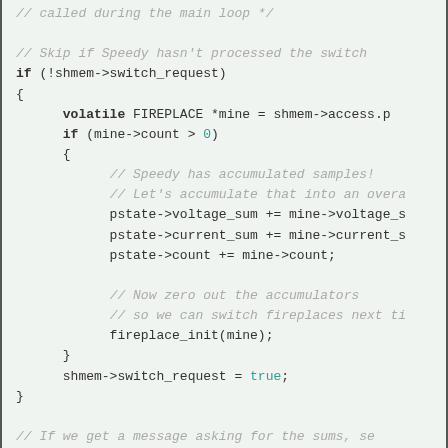[Figure (screenshot): Code snippet in a monospace font on a light green-grey background showing C/C++ code with comments, keywords, and logic for processing switch requests and transmitting sums.]